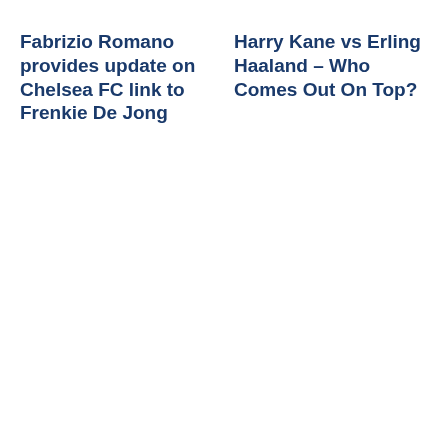Fabrizio Romano provides update on Chelsea FC link to Frenkie De Jong
Harry Kane vs Erling Haaland – Who Comes Out On Top?